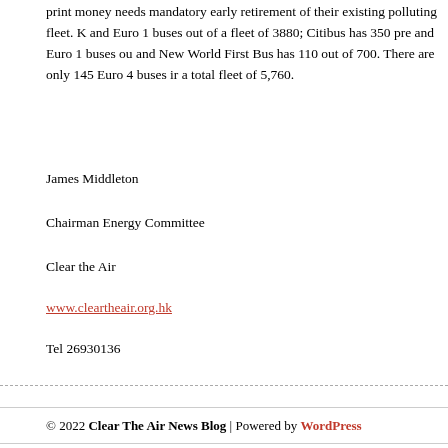print money needs mandatory early retirement of their existing polluting fleet. K and Euro 1 buses out of a fleet of 3880; Citibus has 350 pre and Euro 1 buses ou and New World First Bus has 110 out of 700. There are only 145 Euro 4 buses ir a total fleet of 5,760.
James Middleton
Chairman Energy Committee
Clear the Air
www.cleartheair.org.hk
Tel 26930136
© 2022 Clear The Air News Blog | Powered by WordPress